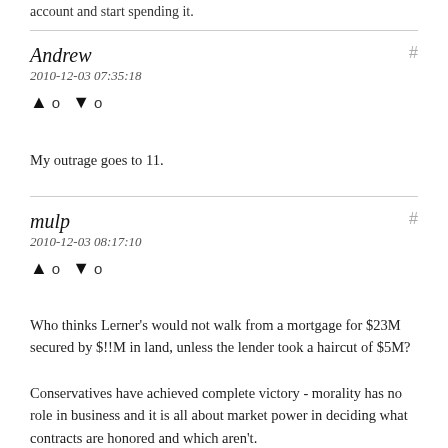account and start spending it.
Andrew
2010-12-03 07:35:18
↑ 0 ↓ 0
My outrage goes to 11.
mulp
2010-12-03 08:17:10
↑ 0 ↓ 0
Who thinks Lerner's would not walk from a mortgage for $23M secured by $!!M in land, unless the lender took a haircut of $5M?
Conservatives have achieved complete victory - morality has no role in business and it is all about market power in deciding what contracts are honored and which aren't.